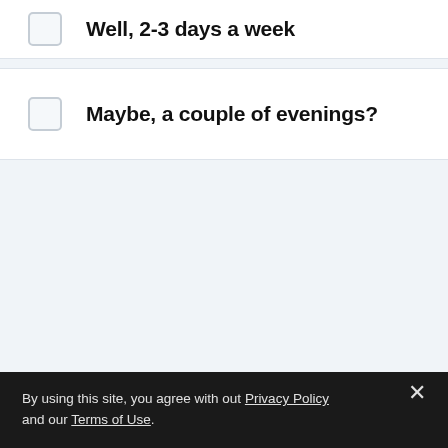Well, 2-3 days a week
Maybe, a couple of evenings?
By using this site, you agree with out Privacy Policy and our Terms of Use.